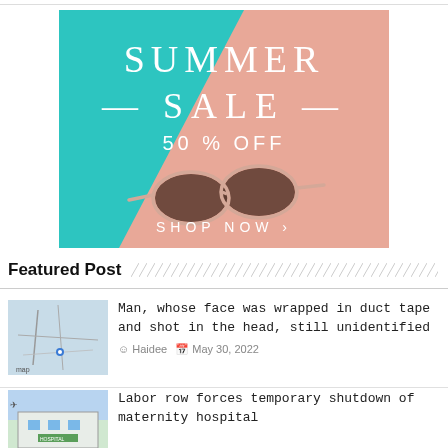[Figure (illustration): Summer Sale advertisement banner with teal and pink diagonal background, sunglasses in center, text 'SUMMER SALE 50% OFF' and 'SHOP NOW >' in white]
Featured Post
Man, whose face was wrapped in duct tape and shot in the head, still unidentified
Haidee   May 30, 2022
Labor row forces temporary shutdown of maternity hospital